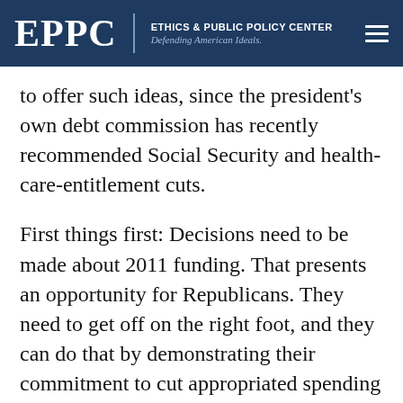EPPC | ETHICS & PUBLIC POLICY CENTER Defending American Ideals.
to offer such ideas, since the president's own debt commission has recently recommended Social Security and health-care-entitlement cuts.
First things first: Decisions need to be made about 2011 funding. That presents an opportunity for Republicans. They need to get off on the right foot, and they can do that by demonstrating their commitment to cut appropriated spending right away, even as they also recognize that the battle they are in is a long one — one they will ultimately win only if the public is on their side.